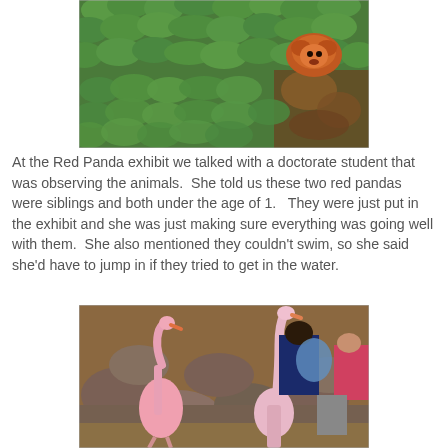[Figure (photo): Aerial view of a red panda among green leafy ground cover and brown leaves, viewed from above.]
At the Red Panda exhibit we talked with a doctorate student that was observing the animals.  She told us these two red pandas were siblings and both under the age of 1.   They were just put in the exhibit and she was just making sure everything was going well with them.  She also mentioned they couldn't swim, so she said she'd have to jump in if they tried to get in the water.
[Figure (photo): Flamingos on rocky terrain with people in the background at a zoo exhibit.]